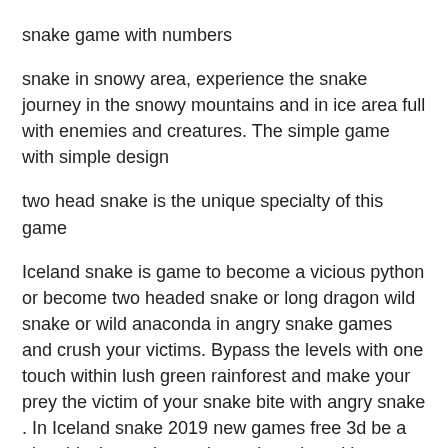snake game with numbers
snake in snowy area, experience the snake journey in the snowy mountains and in ice area full with enemies and creatures. The simple game with simple design
two head snake is the unique specialty of this game
Iceland snake is game to become a vicious python or become two headed snake or long dragon wild snake or wild anaconda in angry snake games and crush your victims. Bypass the levels with one touch within lush green rainforest and make your prey the victim of your snake bite with angry snake . In Iceland snake 2019 new games free 3d be a giant black mamba snake and survive with poisonous teeth and pass long levels full of jungle predators. Anaconda, cobra and python are known as dangerous and deadly snakes and off course black mamba